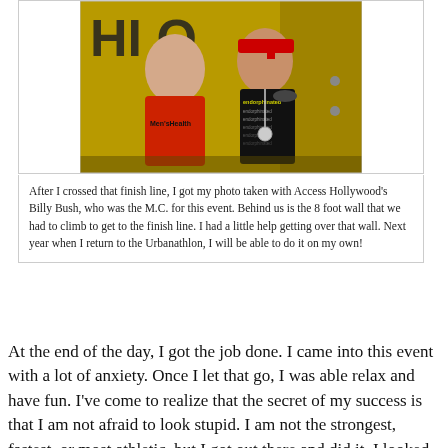[Figure (photo): Two men posing together after a race. The man on the left wears a red Men's Health t-shirt, and the man on the right wears a black 'endorphinated' shirt with a medal and a red bandana. Behind them is a large yellow wall with dark lettering.]
After I crossed that finish line, I got my photo taken with Access Hollywood's Billy Bush, who was the M.C. for this event. Behind us is the 8 foot wall that we had to climb to get to the finish line. I had a little help getting over that wall. Next year when I return to the Urbanathlon, I will be able to do it on my own!
At the end of the day, I got the job done. I came into this event with a lot of anxiety. Once I let that go, I was able relax and have fun. I've come to realize that the secret of my success is that I am not afraid to look stupid. I am not the strongest, fastest, or most athletic, but I got out there and did it. I looked quite comical today, and I probably made a few people laugh at my physical inability to complete some of these obstacles. That didn't deter me one bit, and I quickly let that junior high school gym mentality go. If I had